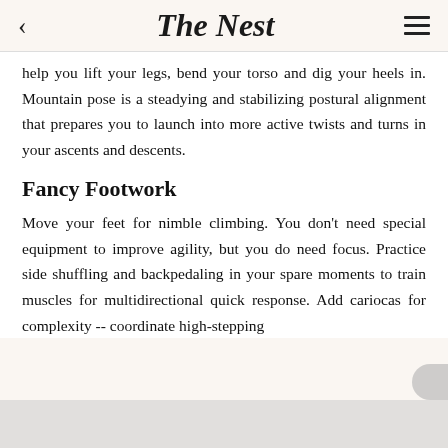The Nest
help you lift your legs, bend your torso and dig your heels in. Mountain pose is a steadying and stabilizing postural alignment that prepares you to launch into more active twists and turns in your ascents and descents.
Fancy Footwork
Move your feet for nimble climbing. You don't need special equipment to improve agility, but you do need focus. Practice side shuffling and backpedaling in your spare moments to train muscles for multidirectional quick response. Add cariocas for complexity -- coordinate high-stepping